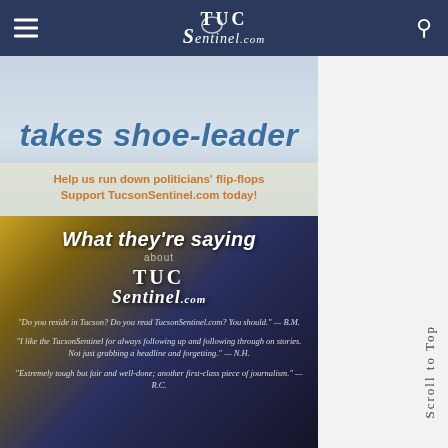TucsonSentinel.com
[Figure (illustration): TucsonSentinel.com advertisement banner - top portion showing 'takes shoe-leather' headline in blue italic text with subtext 'Help us run down politicians' flip-flops / Support TucsonSentinel.com today!' in orange bold text]
[Figure (illustration): TucsonSentinel.com promotional image with dark blue/gold gradient background showing 'What they're saying about TucsonSentinel.com' with reader quotes: 'Do you reside in Tucson? Do you read TucsonSentinel.com? You should.' — B.M. / 'I like the TucsonSentinel for always following up and following through on stories. Not just grabbing a headline and forgetting.' — N.H. / 'Extremely tough but fair and well-done; another first-class piece of journalism.' — R.C.]
Scroll to Top